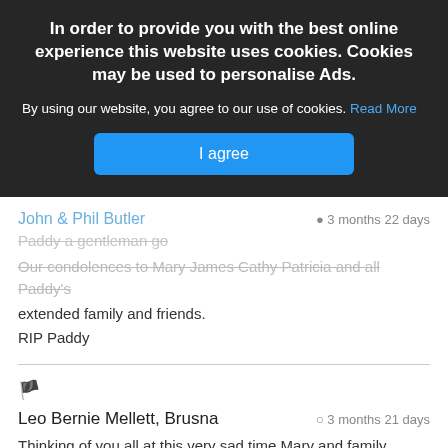In order to provide you with the best online experience this website uses cookies. Cookies may be used to personalise Ads.
By using our website, you agree to our use of cookies. Read More
I agree
John & Phil Butler
Paddy a gentleman go
Our condolences to Mary James Cathy Patricia and all Paddy's extended family and friends.
RIP Paddy
Leo Bernie Mellett, Brusna
3 months 21 days
Thinking of you all at this very sad time Mary and family Paddy was a lovely man may he rest in peace